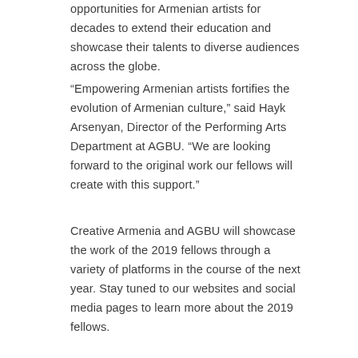opportunities for Armenian artists for decades to extend their education and showcase their talents to diverse audiences across the globe.
“Empowering Armenian artists fortifies the evolution of Armenian culture,” said Hayk Arsenyan, Director of the Performing Arts Department at AGBU. “We are looking forward to the original work our fellows will create with this support.”
Creative Armenia and AGBU will showcase the work of the 2019 fellows through a variety of platforms in the course of the next year. Stay tuned to our websites and social media pages to learn more about the 2019 fellows.